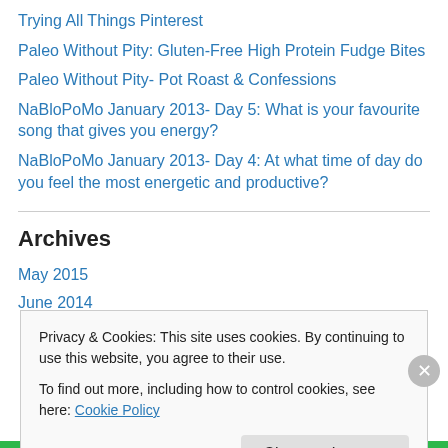Trying All Things Pinterest
Paleo Without Pity: Gluten-Free High Protein Fudge Bites
Paleo Without Pity- Pot Roast & Confessions
NaBloPoMo January 2013- Day 5: What is your favourite song that gives you energy?
NaBloPoMo January 2013- Day 4: At what time of day do you feel the most energetic and productive?
Archives
May 2015
June 2014
Privacy & Cookies: This site uses cookies. By continuing to use this website, you agree to their use. To find out more, including how to control cookies, see here: Cookie Policy
Close and accept